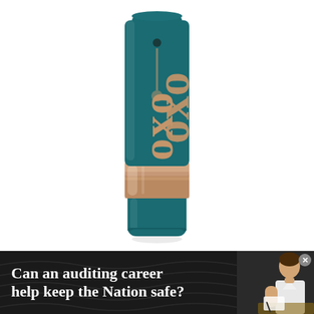[Figure (photo): A teal/dark-green cosmetic tube product with rose gold metallic 'oxo' branding text on the body, a rose gold/champagne metallic band in the middle section, and a teal cap at the bottom. The product is photographed vertically against a white background.]
[Figure (photo): Advertisement banner with dark background featuring wavy lines pattern. Text reads 'Can an auditing career help keep the Nation safe?' in bold white serif font. On the right side is a photo of a woman in white clothing appearing to be working/writing. A small close (x) button is in the upper right corner.]